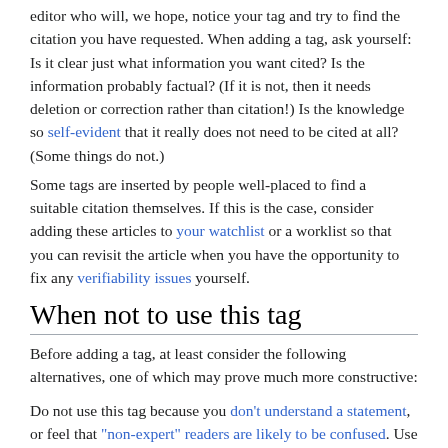editor who will, we hope, notice your tag and try to find the citation you have requested. When adding a tag, ask yourself: Is it clear just what information you want cited? Is the information probably factual? (If it is not, then it needs deletion or correction rather than citation!) Is the knowledge so self-evident that it really does not need to be cited at all? (Some things do not.)
Some tags are inserted by people well-placed to find a suitable citation themselves. If this is the case, consider adding these articles to your watchlist or a worklist so that you can revisit the article when you have the opportunity to fix any verifiability issues yourself.
When not to use this tag
Before adding a tag, at least consider the following alternatives, one of which may prove much more constructive:
Do not use this tag because you don't understand a statement, or feel that "non-expert" readers are likely to be confused. Use {{Clarify}}, {{Explain}}, {{Confusing}}, {{Examples}}, {{Why}} or {{Non sequitur}}, as appropriate,